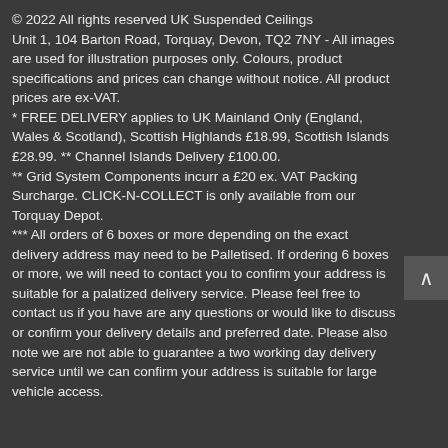© 2022 All rights reserved UK Suspended Ceilings Unit 1, 104 Barton Road, Torquay, Devon, TQ2 7NY - All images are used for illustration purposes only. Colours, product specifications and prices can change without notice. All product prices are ex-VAT.
* FREE DELIVERY applies to UK Mainland Only (England, Wales & Scotland), Scottish Highlands £18.99, Scottish Islands £28.99. ** Channel Islands Delivery £100.00.
** Grid System Components incurr a £20 ex. VAT Packing Surcharge. CLICK-N-COLLECT is only available from our Torquay Depot.
*** All orders of 6 boxes or more depending on the exact delivery address may need to be Palletised. If ordering 6 boxes or more, we will need to contact you to confirm your address is suitable for a palatized delivery service. Please feel free to contact us if you have are any questions or would like to discuss or confirm your delivery details and preferred date. Please also note we are not able to guarantee a two working day delivery service until we can confirm your address is suitable for large vehicle access.